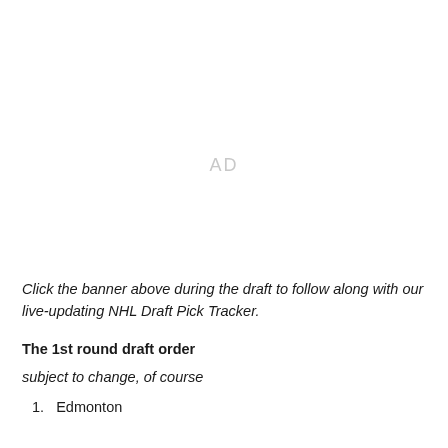[Figure (other): Advertisement placeholder area with 'AD' text in light gray]
Click the banner above during the draft to follow along with our live-updating NHL Draft Pick Tracker.
The 1st round draft order
subject to change, of course
1. Edmonton